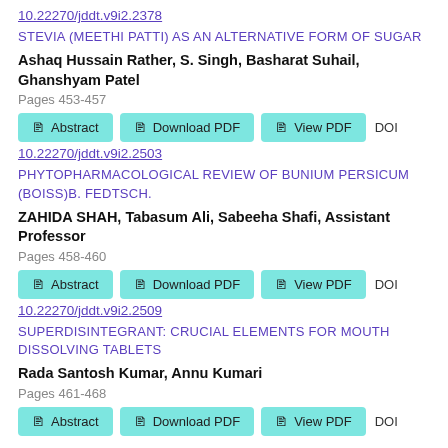10.22270/jddt.v9i2.2378
STEVIA (MEETHI PATTI) AS AN ALTERNATIVE FORM OF SUGAR
Ashaq Hussain Rather, S. Singh, Basharat Suhail, Ghanshyam Patel
Pages 453-457
Abstract | Download PDF | View PDF | DOI
10.22270/jddt.v9i2.2503
PHYTOPHARMACOLOGICAL REVIEW OF BUNIUM PERSICUM (BOISS)B. FEDTSCH.
ZAHIDA SHAH, Tabasum Ali, Sabeeha Shafi, Assistant Professor
Pages 458-460
Abstract | Download PDF | View PDF | DOI
10.22270/jddt.v9i2.2509
SUPERDISINTEGRANT: CRUCIAL ELEMENTS FOR MOUTH DISSOLVING TABLETS
Rada Santosh Kumar, Annu Kumari
Pages 461-468
Abstract | Download PDF | View PDF | DOI